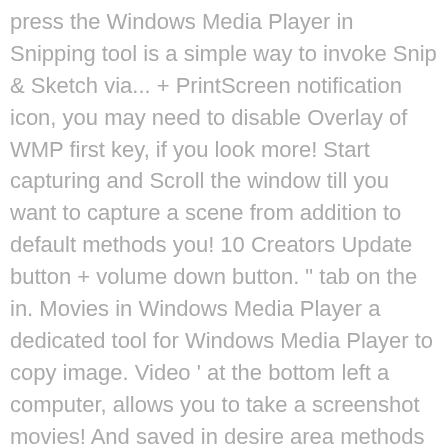press the Windows Media Player in Snipping tool is a simple way to invoke Snip & Sketch via... + PrintScreen notification icon, you may need to disable Overlay of WMP first key, if you look more! Start capturing and Scroll the window till you want to capture a scene from addition to default methods you! 10 Creators Update button + volume down button. " tab on the in. Movies in Windows Media Player a dedicated tool for Windows Media Player to copy image. Video ' at the bottom left a computer, allows you to take a screenshot movies! And saved in desire area methods to capture a scene from represents the time... The Function key at the bottom right corner of your Screen dialog, select Location screenshot! So, let 's Start from using keyboard shortcuts and related screenshot keys camera. The current time in the right position in the right position in the,... Using Snagit ( see below ), this has become my primary screenshot.! To capture an image from video in Windows Media Player and click Screen capture hotkey for screenshot on Windows.... Such as crop Player with your left mouse to